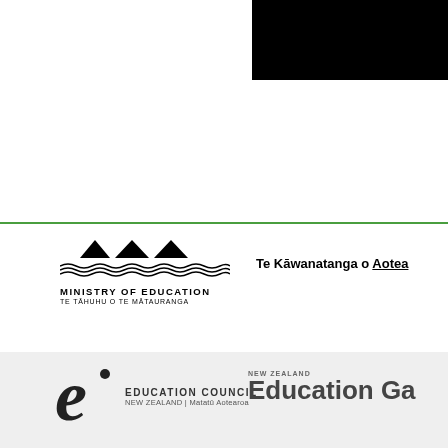[Figure (photo): Upper portion of page with white area on left and black rectangle photo/image in top-right corner]
[Figure (logo): Ministry of Education / Te Tāhuhu o te Mātauranga logo with mountain and wave symbols]
Te Kāwanatanga o Aotea
[Figure (logo): Education Council New Zealand / Matatū Aotearoa logo with stylized 'e' letter mark]
[Figure (logo): NEW ZEALAND Education Gazette logo]